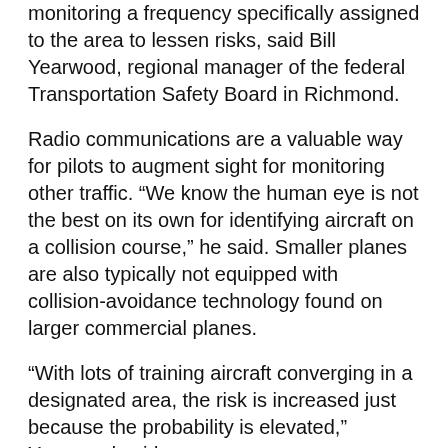monitoring a frequency specifically assigned to the area to lessen risks, said Bill Yearwood, regional manager of the federal Transportation Safety Board in Richmond.
Radio communications are a valuable way for pilots to augment sight for monitoring other traffic. “We know the human eye is not the best on its own for identifying aircraft on a collision course,” he said. Smaller planes are also typically not equipped with collision-avoidance technology found on larger commercial planes.
“With lots of training aircraft converging in a designated area, the risk is increased just because the probability is elevated,” Yearwood said.
In 2003, a student pilot flying a Piper PA-28-140 aircraft with Langley Flying School went on a solo training flight in the Glen Valley practice area. After about 30 minutes, and completing three 360-degree turns, the plane entered a spiral dive and crashed to the ground. The pilot died.
In 2011, two of four light planes flying in formation from Langley to Chilliwack collided mid-air over Deroche, and